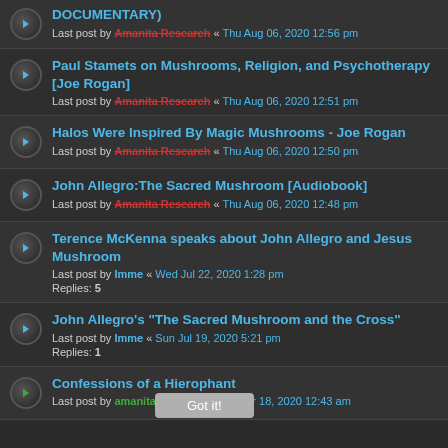DOCUMENTARY)
Last post by Amanita Research « Thu Aug 06, 2020 12:56 pm
Paul Stamets on Mushrooms, Religion, and Psychotherapy [Joe Rogan]
Last post by Amanita Research « Thu Aug 06, 2020 12:51 pm
Halos Were Inspired By Magic Mushrooms - Joe Rogan
Last post by Amanita Research « Thu Aug 06, 2020 12:50 pm
John Allegro:The Sacred Mushroom [Audiobook]
Last post by Amanita Research « Thu Aug 06, 2020 12:48 pm
Terence McKenna speaks about John Allegro and Jesus Mushroom
Last post by Imme « Wed Jul 22, 2020 1:28 pm
Replies: 5
John Allegro's "The Sacred Mushroom and the Cross"
Last post by Imme « Sun Jul 19, 2020 5:21 pm
Replies: 1
Confessions of a Hierophant
Last post by amanitadreamer « Wed Mar 18, 2020 12:43 am